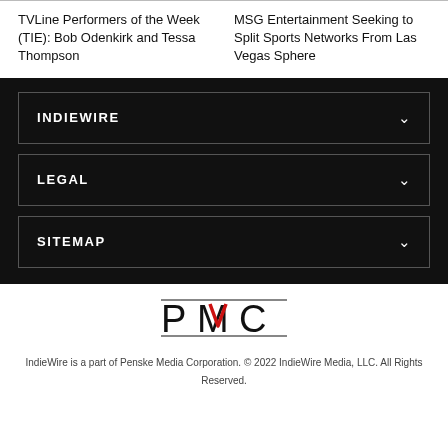TVLine Performers of the Week (TIE): Bob Odenkirk and Tessa Thompson
MSG Entertainment Seeking to Split Sports Networks From Las Vegas Sphere
INDIEWIRE
LEGAL
SITEMAP
[Figure (logo): PMC logo in black with red accent on M]
IndieWire is a part of Penske Media Corporation. © 2022 IndieWire Media, LLC. All Rights Reserved.